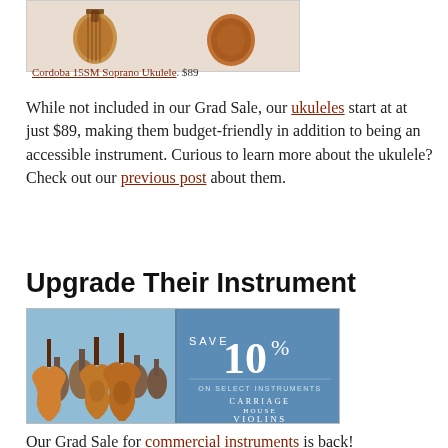[Figure (photo): Cordoba 15SM Soprano Ukulele product image showing two ukulele bodies from above in a product listing box]
Cordoba 15SM Soprano Ukulele. $89
While not included in our Grad Sale, our ukuleles start at at just $89, making them budget-friendly in addition to being an accessible instrument. Curious to learn more about the ukulele? Check out our previous post about them.
Upgrade Their Instrument
[Figure (illustration): Carriage House Violins advertisement banner showing a group of violins and the text SAVE 10% ON SELECT INSTRUMENTS, CARRIAGE HOUSE VIOLINS]
Our Grad Sale for commercial instruments is back!